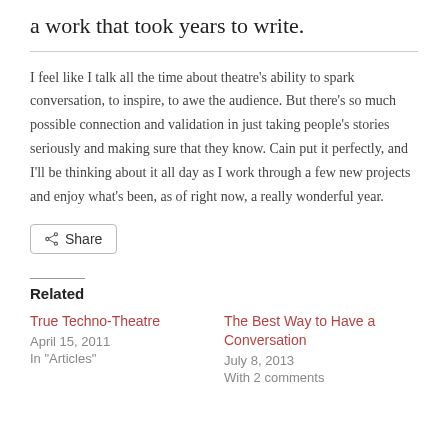a work that took years to write.
I feel like I talk all the time about theatre's ability to spark conversation, to inspire, to awe the audience. But there's so much possible connection and validation in just taking people's stories seriously and making sure that they know. Cain put it perfectly, and I'll be thinking about it all day as I work through a few new projects and enjoy what's been, as of right now, a really wonderful year.
Related
True Techno-Theatre
April 15, 2011
In "Articles"
The Best Way to Have a Conversation
July 8, 2013
With 2 comments